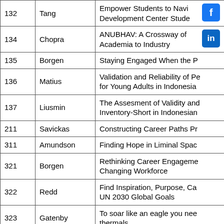|  |  |  |
| --- | --- | --- |
| 132 | Tang | Empower Students to Navi... Development Center Stude... |
| 134 | Chopra | ANUBHAV: A Crossway of ... Academia to Industry |
| 135 | Borgen | Staying Engaged When the P... |
| 136 | Matius | Validation and Reliability of Pe... for Young Adults in Indonesia... |
| 137 | Liusmin | The Assesment of Validity and... Inventory-Short in Indonesian... |
| 211 | Savickas | Constructing Career Paths Pr... |
| 311 | Amundson | Finding Hope in Liminal Spac... |
| 321 | Borgen | Rethinking Career Engageme... Changing Workforce |
| 322 | Redd | Find Inspiration, Purpose, Ca... UN 2030 Global Goals |
| 323 | Gatenby | To soar like an eagle you nee... thermals. |
| 324 | Han | How to Thrive in a New Job-le... |
| 325 | Glavin | Top 10 Tips for Conducting th... |
|  |  | Social Support, Resilience an... |